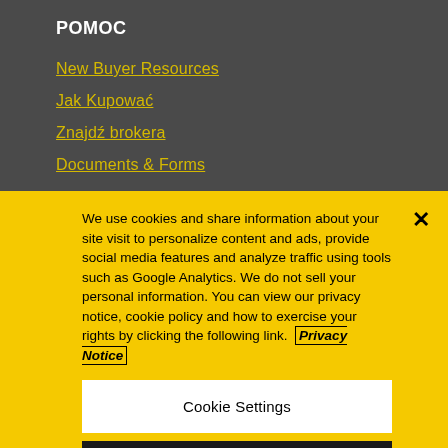POMOC
New Buyer Resources
Jak Kupować
Znajdź brokera
Documents & Forms
We use cookies and share information about your site visit to personalize content and ads, provide social media features and analyze traffic using tools such as Google Analytics. We do not sell your personal information. You can view our privacy notice, cookie policy and how to exercise your rights by clicking the following link. Privacy Notice
Cookie Settings
Reject All
Accept Cookies